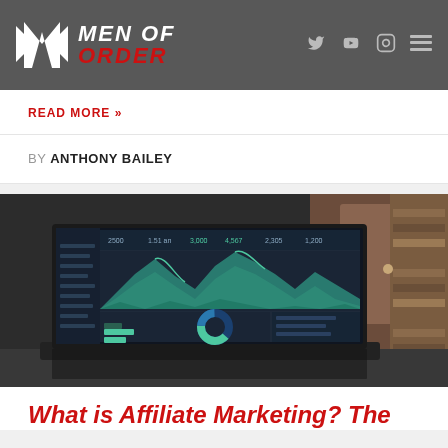MEN OF ORDER
READ MORE »
BY ANTHONY BAILEY
[Figure (photo): A laptop on a desk displaying a dashboard with area charts showing peaks, bar charts, and a donut chart. Analytics/marketing dashboard.]
What is Affiliate Marketing? The